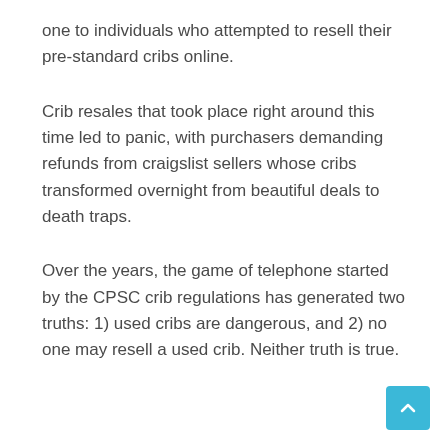one to individuals who attempted to resell their pre-standard cribs online.
Crib resales that took place right around this time led to panic, with purchasers demanding refunds from craigslist sellers whose cribs transformed overnight from beautiful deals to death traps.
Over the years, the game of telephone started by the CPSC crib regulations has generated two truths: 1) used cribs are dangerous, and 2) no one may resell a used crib. Neither truth is true.